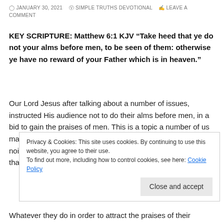JANUARY 30, 2021  SIMPLE TRUTHS DEVOTIONAL  LEAVE A COMMENT
KEY SCRIPTURE: Matthew 6:1 KJV “Take heed that ye do not your alms before men, to be seen of them: otherwise ye have no reward of your Father which is in heaven.”
Our Lord Jesus after talking about a number of issues, instructed His audience not to do their alms before men, in a bid to gain the praises of men. This is a topic a number of us may say it is a very simple matter, and that, we do not make noise about the good deeds we do. I believe this is an issue that touches on a lot of aspects about our life. There are
Privacy & Cookies: This site uses cookies. By continuing to use this website, you agree to their use.
To find out more, including how to control cookies, see here: Cookie Policy
Close and accept
Whatever they do in order to attract the praises of their